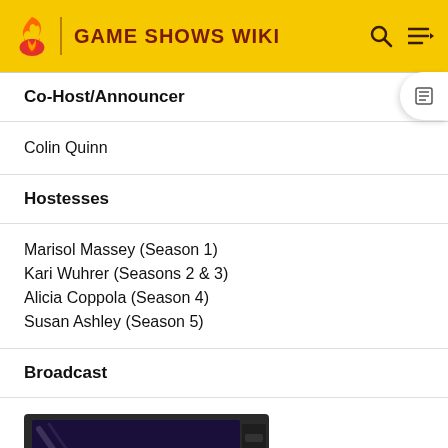GAME SHOWS WIKI
Co-Host/Announcer
Colin Quinn
Hostesses
Marisol Massey (Season 1)
Kari Wuhrer (Seasons 2 & 3)
Alicia Coppola (Season 4)
Susan Ashley (Season 5)
Broadcast
[Figure (photo): TV screen showing 'My Remote Control in Color' title card on a vintage television set]
Pilot: 11/20/1987